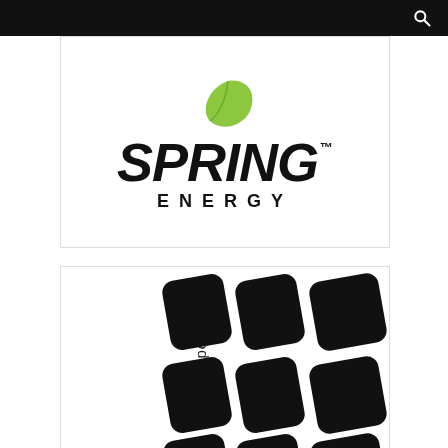Navigation bar with search icon
[Figure (logo): Spring Energy logo with green leaf above bold italic 'SPRING' text and TM mark, with 'ENERGY' in spaced caps below]
[Figure (logo): Sportswear logo with rotated 'sportswear' text and a grid of rounded black diamond/square shapes arranged in rows]